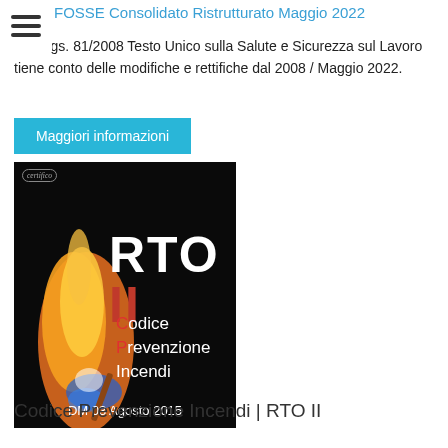FOSSE Consolidato Ristrutturato Maggio 2022
Il D. Lgs. 81/2008 Testo Unico sulla Salute e Sicurezza sul Lavoro tiene conto delle modifiche e rettifiche dal 2008 / Maggio 2022.
Maggiori informazioni
[Figure (photo): Book cover for RTO II - Codice Prevenzione Incendi, DM 03 Agosto 2015. Black background with flame image. Text: RTO II in white/red, Codice Prevenzione Incendi in white with colored initial letters, DM 03 Agosto 2015 at bottom.]
Codice Prevenzione Incendi | RTO II